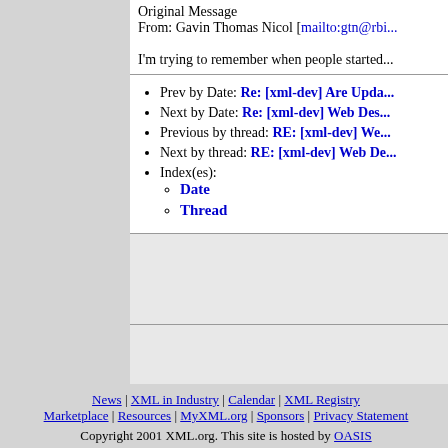Original Message
From: Gavin Thomas Nicol [mailto:gtn@rbi...]
I'm trying to remember when people started...
Prev by Date: Re: [xml-dev] Are Upda...
Next by Date: Re: [xml-dev] Web Des...
Previous by thread: RE: [xml-dev] We...
Next by thread: RE: [xml-dev] Web De...
Index(es): Date, Thread
News | XML in Industry | Calendar | XML Registry | Marketplace | Resources | MyXML.org | Sponsors | Privacy Statement
Copyright 2001 XML.org. This site is hosted by OASIS